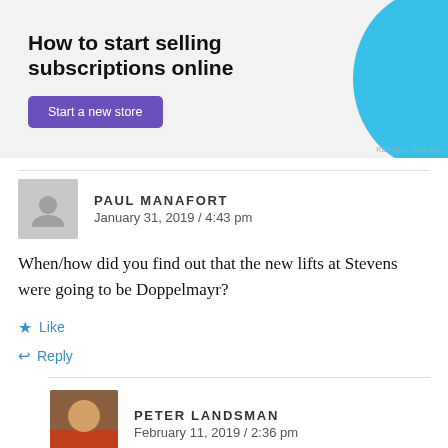[Figure (screenshot): Advertisement banner with text 'How to start selling subscriptions online', a purple 'Start a new store' button, and a blue decorative graphic on the right. 'REPORT THIS AD' text at bottom right.]
PAUL MANAFORT
January 31, 2019 / 4:43 pm
When/how did you find out that the new lifts at Stevens were going to be Doppelmayr?
Like
Reply
PETER LANDSMAN
February 11, 2019 / 2:36 pm